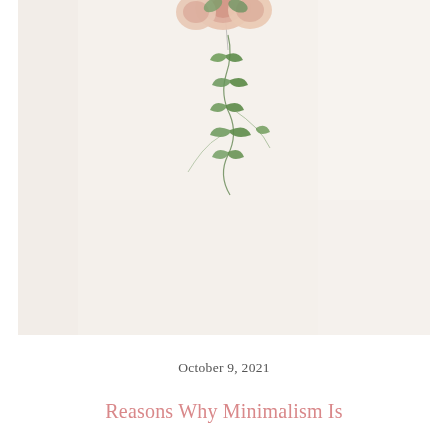[Figure (photo): A hanging floral arrangement with pink/peach roses at the top and trailing green ivy vines against a warm off-white/cream background wall.]
October 9, 2021
Reasons Why Minimalism Is